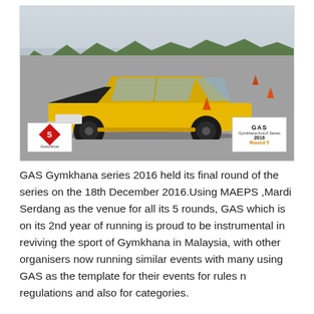[Figure (photo): A yellow hatchback car (Honda Civic EG) driving on a grey tarmac surface during a gymkhana event. Orange traffic cones are visible on the right side. Trees line the background. Bottom-left has a white logo box with a red diamond shape and text. Bottom-right has a white logo box reading GAS, Gymkhana AutoX Series, 2016, Round 5.]
GAS Gymkhana series 2016 held its final round of the series on the 18th December 2016.Using MAEPS ,Mardi Serdang as the venue for all its 5 rounds, GAS which is on its 2nd year of running is proud to be instrumental in reviving the sport of Gymkhana in Malaysia, with other organisers now running similar events with many using GAS as the template for their events for rules n regulations and also for categories.